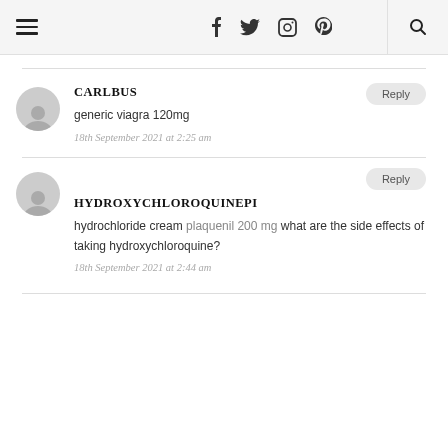Navigation bar with hamburger menu, social icons (f, twitter, instagram, pinterest), and search icon
CARLBUS
generic viagra 120mg
18th September 2021 at 2:25 am
HYDROXYCHLOROQUINEPI
hydrochloride cream plaquenil 200 mg what are the side effects of taking hydroxychloroquine?
18th September 2021 at 2:44 am